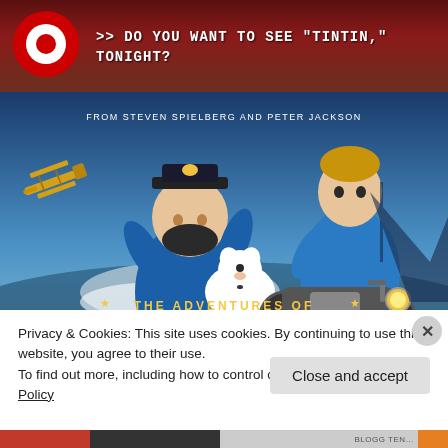[Figure (screenshot): Screenshot of a Target store website or video with text overlay asking 'DO YOU WANT TO SEE "TINTIN," TONIGHT?' with Target logo and store imagery in background]
[Figure (photo): Movie poster for 'The Adventures of Tintin' from Steven Spielberg and Peter Jackson, showing animated characters Tintin on a motorcycle with Captain Haddock and Snowy the dog]
Privacy & Cookies: This site uses cookies. By continuing to use this website, you agree to their use.
To find out more, including how to control cookies, see here: Cookie Policy